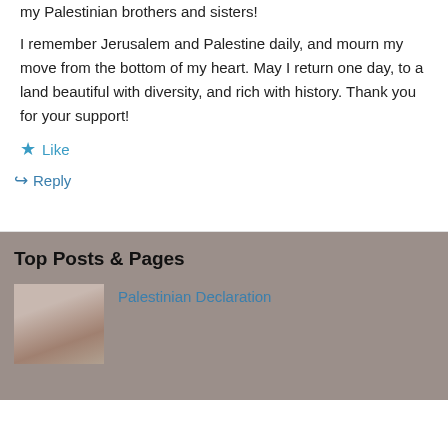my Palestinian brothers and sisters!
I remember Jerusalem and Palestine daily, and mourn my move from the bottom of my heart. May I return one day, to a land beautiful with diversity, and rich with history. Thank you for your support!
★ Like
↳ Reply
Top Posts & Pages
Palestinian Declaration